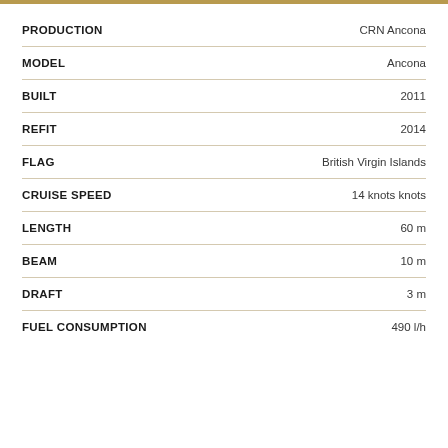| Field | Value |
| --- | --- |
| PRODUCTION | CRN Ancona |
| MODEL | Ancona |
| BUILT | 2011 |
| REFIT | 2014 |
| FLAG | British Virgin Islands |
| CRUISE SPEED | 14 knots knots |
| LENGTH | 60 m |
| BEAM | 10 m |
| DRAFT | 3 m |
| FUEL CONSUMPTION | 490 l/h |